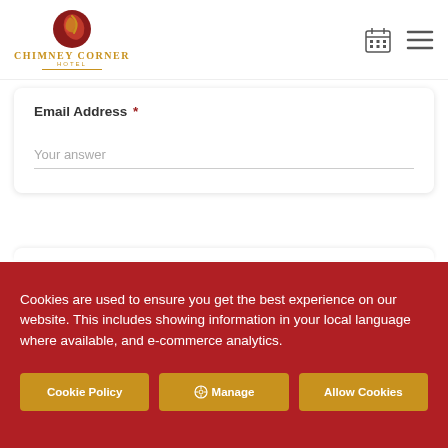[Figure (logo): Chimney Corner Hotel logo with red/gold circular emblem and gold text]
Email Address *
Your answer
Cookies are used to ensure you get the best experience on our website. This includes showing information in your local language where available, and e-commerce analytics.
Cookie Policy
Manage
Allow Cookies